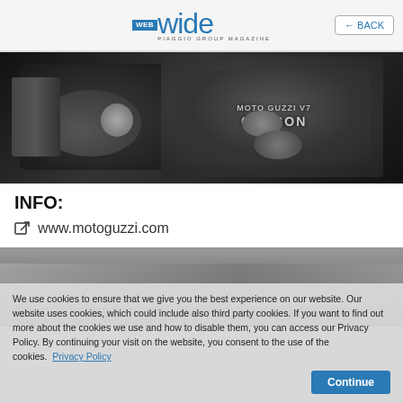web wide PIAGGIO GROUP MAGAZINE | ← BACK
[Figure (photo): Close-up photo of Moto Guzzi V7 III Carbon motorcycle handlebars and top clamp with chrome details and carbon fiber badge]
INFO:
www.motoguzzi.com
[Figure (photo): Close-up photo of Moto Guzzi motorcycle dark bodywork or seat detail]
We use cookies to ensure that we give you the best experience on our website. Our website uses cookies, which could include also third party cookies. If you want to find out more about the cookies we use and how to disable them, you can access our Privacy Policy. By continuing your visit on the website, you consent to the use of the cookies.
Privacy Policy | Continue